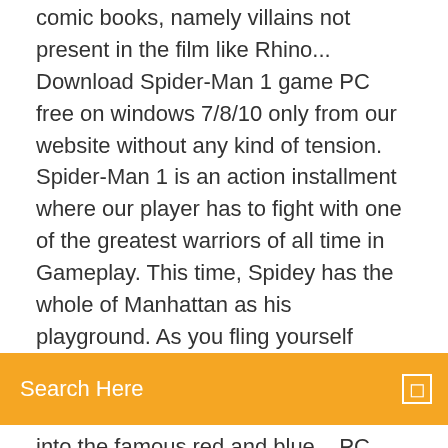comic books, namely villains not present in the film like Rhino... Download Spider-Man 1 game PC free on windows 7/8/10 only from our website without any kind of tension. Spider-Man 1 is an action installment where our player has to fight with one of the greatest warriors of all time in Gameplay. This time, Spidey has the whole of Manhattan as his playground. As you fling yourself
Search Here
into the famous red and blue... PC Software - Ocean of GamesSpider Man Web of Shadows - Download game PS3 PS4 PS2 RPCS3 PC...https://downloadgameps3.com/spider-man-web-of-shadows-ps3-isoDownload Game PS3 RPCS3 Free New, Best Game PS3 RPCS3 Iso, Direct Links Torrent PS3 RPCS3, Hack Jailbreak Update DLC PS3 RPCS3 The Amazing Spider Man game PS3 iso, game RPCS3, game PC, Direct Links PS3 RPCS3, Torrent PS3 RPCS3, DLC PS3 RPCS3, Google drive game PS3 RPCS3 PC Created as an epilogue story occurring entirely after the events of the movie, the game features the